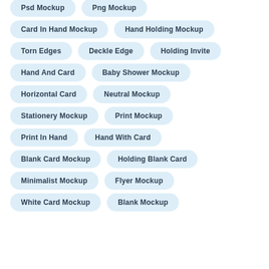Psd Mockup
Png Mockup
Card In Hand Mockup
Hand Holding Mockup
Torn Edges
Deckle Edge
Holding Invite
Hand And Card
Baby Shower Mockup
Horizontal Card
Neutral Mockup
Stationery Mockup
Print Mockup
Print In Hand
Hand With Card
Blank Card Mockup
Holding Blank Card
Minimalist Mockup
Flyer Mockup
White Card Mockup
Blank Mockup